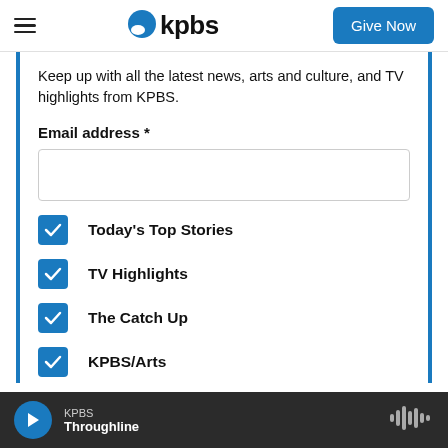kpbs | Give Now
Keep up with all the latest news, arts and culture, and TV highlights from KPBS.
Email address *
Today's Top Stories
TV Highlights
The Catch Up
KPBS/Arts
KPBS Throughline